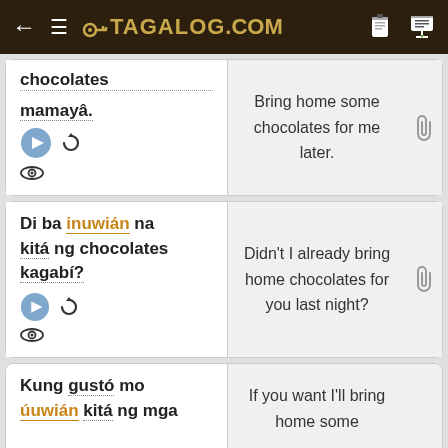← ≡ 🔑 TAGALOG.COM
chocolates mamayâ. [play] [refresh] [eye] | Bring home some chocolates for me later.
Di ba inuwián na kitá ng chocolates kagabí? [play] [refresh] [eye] | Didn't I already bring home chocolates for you last night?
Kung gustó mo úuwián kitá ng mga | If you want I'll bring home some